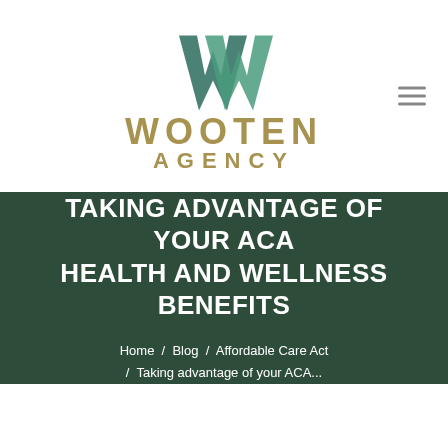[Figure (logo): Wooten Agency logo with a stylized W mark in teal/green and the text WOOTEN AGENCY in gold/tan letters]
TAKING ADVANTAGE OF YOUR ACA HEALTH AND WELLNESS BENEFITS
Home / Blog / Affordable Care Act / Taking advantage of your ACA...